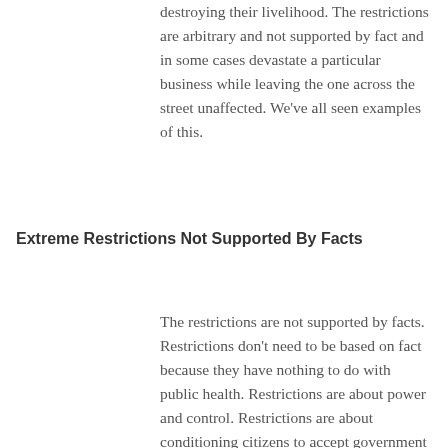destroying their livelihood. The restrictions are arbitrary and not supported by fact and in some cases devastate a particular business while leaving the one across the street unaffected. We've all seen examples of this.
Extreme Restrictions Not Supported By Facts
The restrictions are not supported by facts. Restrictions don't need to be based on fact because they have nothing to do with public health. Restrictions are about power and control. Restrictions are about conditioning citizens to accept government direction without question. To follow and obey or in the words of Dr.